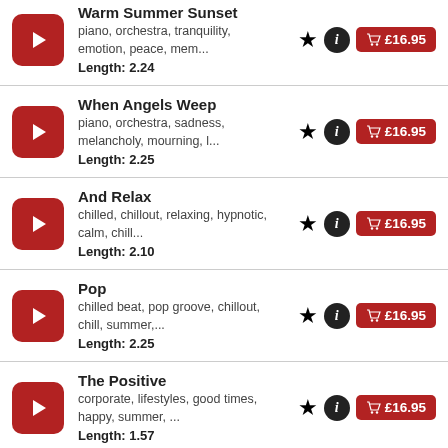Warm Summer Sunset
piano, orchestra, tranquility, emotion, peace, mem...
Length: 2.24
£16.95
When Angels Weep
piano, orchestra, sadness, melancholy, mourning, l...
Length: 2.25
£16.95
And Relax
chilled, chillout, relaxing, hypnotic, calm, chill...
Length: 2.10
£16.95
Pop
chilled beat, pop groove, chillout, chill, summer,...
Length: 2.25
£16.95
The Positive
corporate, lifestyles, good times, happy, summer, ...
Length: 1.57
£16.95